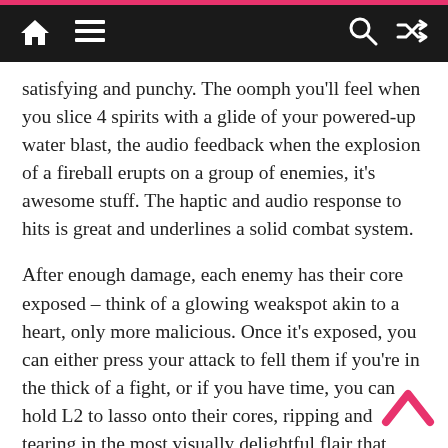Navigation bar with home, menu, search, and shuffle icons
satisfying and punchy. The oomph you'll feel when you slice 4 spirits with a glide of your powered-up water blast, the audio feedback when the explosion of a fireball erupts on a group of enemies, it's awesome stuff. The haptic and audio response to hits is great and underlines a solid combat system.
After enough damage, each enemy has their core exposed – think of a glowing weakspot akin to a heart, only more malicious. Once it's exposed, you can either press your attack to fell them if you're in the thick of a fight, or if you have time, you can hold L2 to lasso onto their cores, ripping and tearing in the most visually delightful flair that Doomguy himself would envy. This mechanic also rewards you with further energy to keep laying down the pain with your powers, as should you run out of